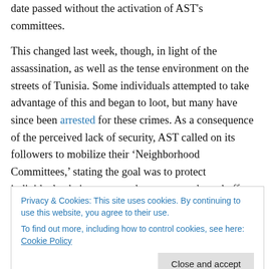date passed without the activation of AST's committees.
This changed last week, though, in light of the assassination, as well as the tense environment on the streets of Tunisia. Some individuals attempted to take advantage of this and began to loot, but many have since been arrested for these crimes. As a consequence of the perceived lack of security, AST called on its followers to mobilize their ‘Neighborhood Committees,’ stating the goal was to protect individuals, their money and property, and ward off thieves and looters. AST also urged followers to remain vigilant and cautious in light of potential gangs
Privacy & Cookies: This site uses cookies. By continuing to use this website, you agree to their use.
To find out more, including how to control cookies, see here: Cookie Policy
the streets in al-Zahra’, al-Wardiyyah, al-Qayrawan,